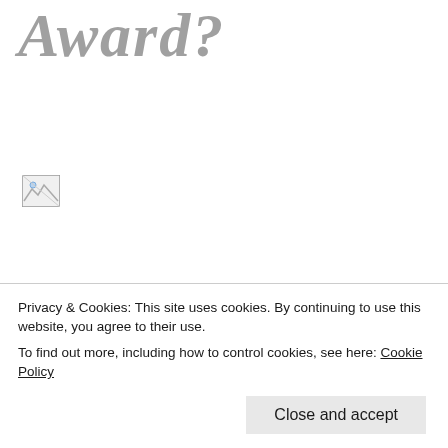Award?
[Figure (photo): Broken/missing image placeholder icon]
“The Blogger Recognition Award was created by bloggers as a way of celebrating other within the community. This posts allows us to recognize some of our favourites, and help promote their work and positive influence in the blogging world” - Chlo...
Privacy & Cookies: This site uses cookies. By continuing to use this website, you agree to their use.
To find out more, including how to control cookies, see here: Cookie Policy
Close and accept